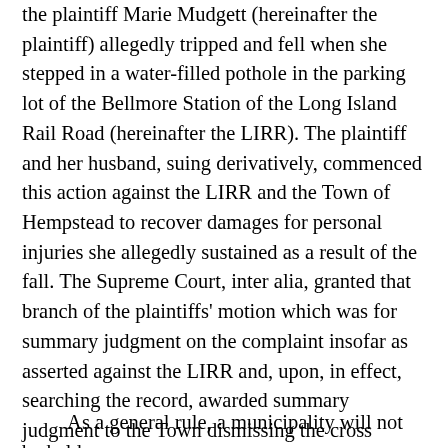the plaintiff Marie Mudgett (hereinafter the plaintiff) allegedly tripped and fell when she stepped in a water-filled pothole in the parking lot of the Bellmore Station of the Long Island Rail Road (hereinafter the LIRR). The plaintiff and her husband, suing derivatively, commenced this action against the LIRR and the Town of Hempstead to recover damages for personal injuries she allegedly sustained as a result of the fall. The Supreme Court, inter alia, granted that branch of the plaintiffs' motion which was for summary judgment on the complaint insofar as asserted against the LIRR and, upon, in effect, searching the record, awarded summary judgment to the Town dismissing the cross claims asserted against it. [*2]
As a general rule, a municipality will not be held